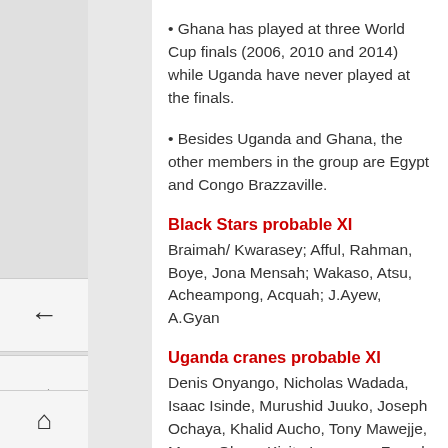• Ghana has played at three World Cup finals (2006, 2010 and 2014) while Uganda have never played at the finals.
• Besides Uganda and Ghana, the other members in the group are Egypt and Congo Brazzaville.
Black Stars probable XI
Braimah/ Kwarasey; Afful, Rahman, Boye, Jona Mensah; Wakaso, Atsu, Acheampong, Acquah; J.Ayew, A.Gyan
Uganda cranes probable XI
Denis Onyango, Nicholas Wadada, Isaac Isinde, Murushid Juuko, Joseph Ochaya, Khalid Aucho, Tony Mawejje, Moses Oloya, Kizito Luwagga, Farouk Miya, Geoffrey Massa
LIVE UPDATES BETWEEN GHANA VS